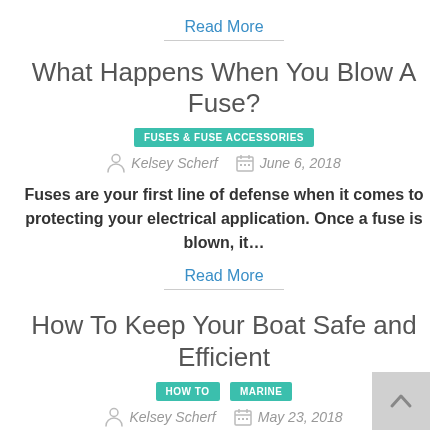Read More
What Happens When You Blow A Fuse?
FUSES & FUSE ACCESSORIES
Kelsey Scherf   June 6, 2018
Fuses are your first line of defense when it comes to protecting your electrical application. Once a fuse is blown, it…
Read More
How To Keep Your Boat Safe and Efficient
HOW TO   MARINE
Kelsey Scherf   May 23, 2018